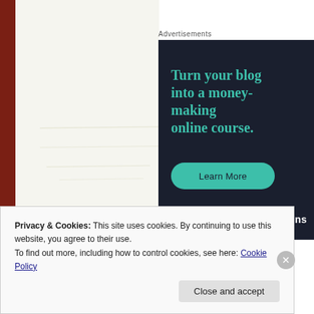Advertisements
[Figure (infographic): Dark navy advertisement banner reading 'Turn your blog into a money-making online course.' with a teal 'Learn More' button and a Sensei logo in the bottom right corner.]
Privacy & Cookies: This site uses cookies. By continuing to use this website, you agree to their use.
To find out more, including how to control cookies, see here: Cookie Policy
Close and accept